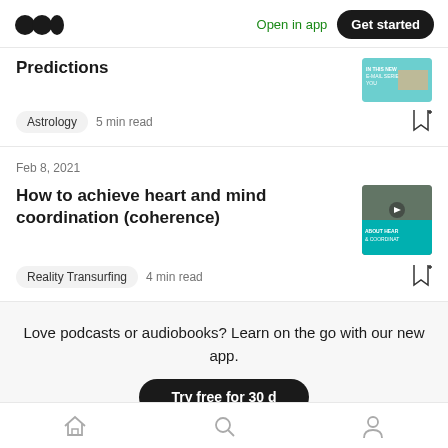Open in app  Get started
Predictions
Astrology  5 min read
Feb 8, 2021
How to achieve heart and mind coordination (coherence)
Reality Transurfing  4 min read
Love podcasts or audiobooks? Learn on the go with our new app.